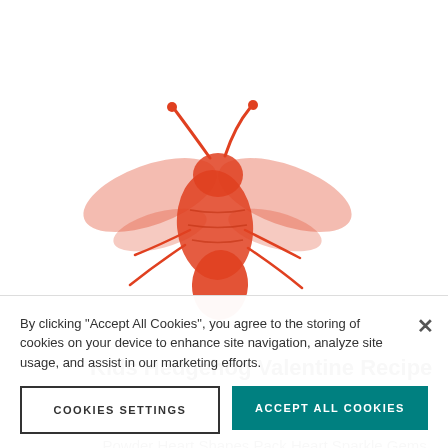[Figure (illustration): Red/orange illustrated bee or wasp stamp-style image on white background]
Kids Hedgehog Valentine Recipe
Paper Source
...Powder Heart Shapes Pack Heart Sparkle Gems Heart Sticker Repeats Glassine Envelopes 2 1/4" x 3 1/2" Happy Valentine’s Day Stickers 1/8" Hole Punch Embossing Heart Tool Compliments of...
By clicking “Accept All Cookies”, you agree to the storing of cookies on your device to enhance site navigation, analyze site usage, and assist in our marketing efforts.